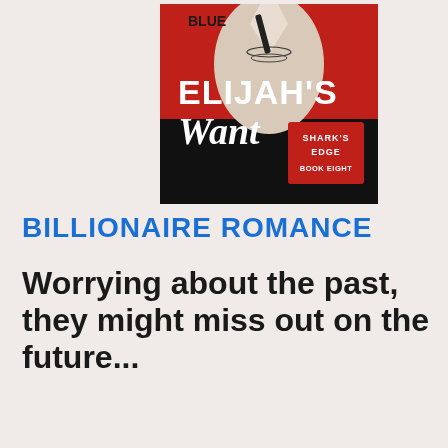[Figure (illustration): Book cover for 'Elijah's Want' by Blue, Shark's Edge Book Eight. Red and black background with a man in a white open shirt wearing necklaces. Title text 'ELIJAH'S Want' in large white letters with a red box showing 'SHARK'S EDGE BOOK EIGHT'.]
BILLIONAIRE ROMANCE
Worrying about the past, they might miss out on the future...